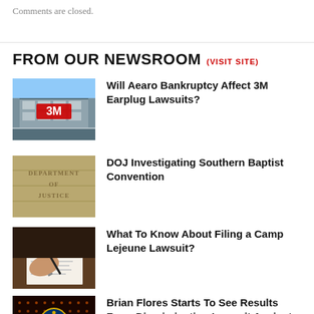Comments are closed.
FROM OUR NEWSROOM (VISIT SITE)
[Figure (photo): 3M building exterior with red 3M logo]
Will Aearo Bankruptcy Affect 3M Earplug Lawsuits?
[Figure (photo): Department of Justice stone engraving]
DOJ Investigating Southern Baptist Convention
[Figure (photo): Person signing documents with pen]
What To Know About Filing a Camp Lejeune Lawsuit?
[Figure (photo): NFL logo on dark background]
Brian Flores Starts To See Results From Discrimination Lawsuit Against The NFL